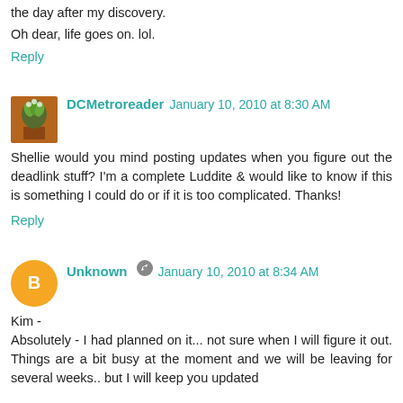the day after my discovery.
Oh dear, life goes on. lol.
Reply
DCMetroreader  January 10, 2010 at 8:30 AM
Shellie would you mind posting updates when you figure out the deadlink stuff? I'm a complete Luddite & would like to know if this is something I could do or if it is too complicated. Thanks!
Reply
Unknown  January 10, 2010 at 8:34 AM
Kim -
Absolutely - I had planned on it... not sure when I will figure it out. Things are a bit busy at the moment and we will be leaving for several weeks.. but I will keep you updated
You can also email me if you have any specific questions. I